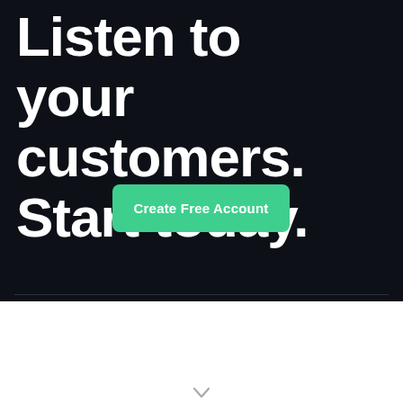Listen to your customers. Start today.
Create Free Account
[Figure (other): Chevron/arrow icon at bottom center of page]